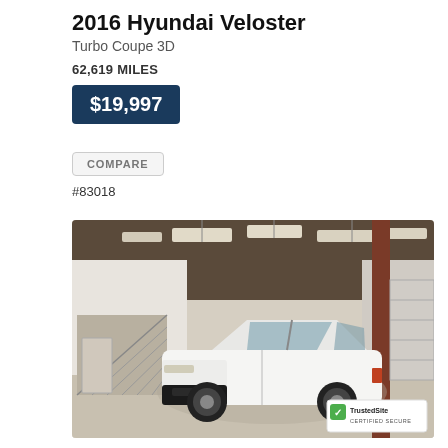2016 Hyundai Veloster
Turbo Coupe 3D
62,619 MILES
$19,997
COMPARE
#83018
[Figure (photo): White Ford Mustang Mach-E SUV parked inside a large warehouse/garage with white walls, a staircase on the left, fluorescent lighting on the ceiling, and brown metal structural beams. A TrustedSite Certified Secure badge is visible in the bottom right corner.]